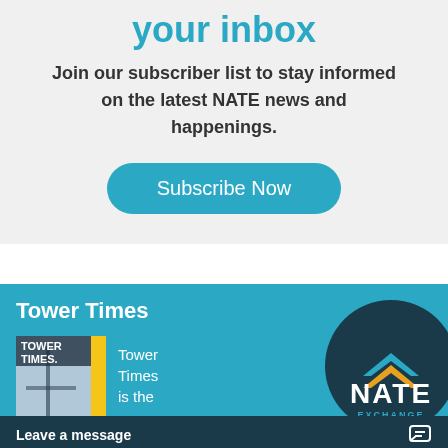your inbox
Join our subscriber list to stay informed on the latest NATE news and happenings.
Subscribe Now
Tower Times
Tower Times is the
[Figure (logo): NATE circular logo on dark teal background with EXCHANGE text below]
Leave a message